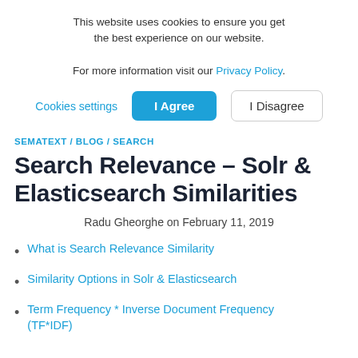This website uses cookies to ensure you get the best experience on our website. For more information visit our Privacy Policy.
Cookies settings | I Agree | I Disagree
SEMATEXT / BLOG / SEARCH
Search Relevance – Solr & Elasticsearch Similarities
Radu Gheorghe on February 11, 2019
What is Search Relevance Similarity
Similarity Options in Solr & Elasticsearch
Term Frequency * Inverse Document Frequency (TF*IDF)